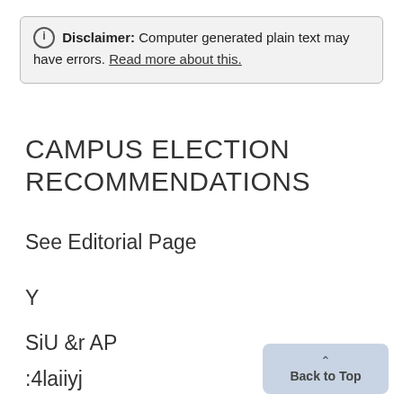Disclaimer: Computer generated plain text may have errors. Read more about this.
CAMPUS ELECTION RECOMMENDATIONS
See Editorial Page
Y
SiU &r AP
:4laiiyj